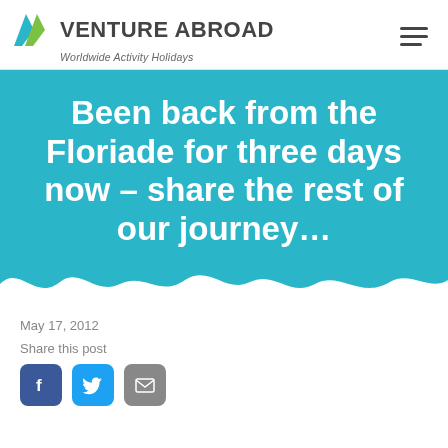VENTURE ABROAD — Worldwide Activity Holidays
Been back from the Floriade for three days now – share the rest of our journey…
May 17, 2012
Share this post